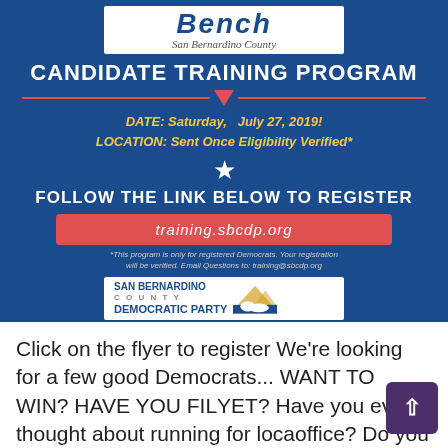[Figure (infographic): Blue flyer for Bench San Bernardino County Candidate Training Program with date July 27, 2019, location sent once eligibility verified, link training.sbcdp.org, and San Bernardino County Democratic Party logo]
Click on the flyer to register We're looking for a few good Democrats... WANT TO WIN? HAVE YOU FILED YET? Have you ever thought about running for local office? Do you think you can do a better job than the